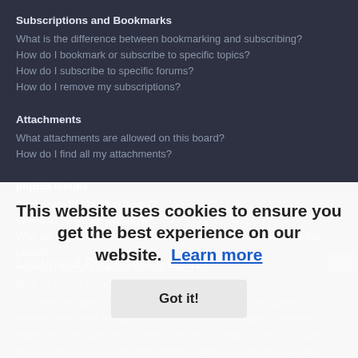Subscriptions and Bookmarks
What is the difference between bookmarking and subscribing?
How do I bookmark or subscribe to specific topics?
How do I subscribe to specific forums?
How do I remove my subscriptions?
Attachments
What attachments are allowed on this board?
How do I find all my attachments?
phpBB Issues
Who wrote this bulletin board?
Why isn't X feature available?
Who do I contact about abusive and/or legal matters related to this board?
How do I contact a board administrator?
Login and Registration Issues
Why do I need to register?
You may not have to, it is up to the administrator of the board as to whether you need to register in order to post messages. However, registration will give you access to additional features not available to guest users such as definable avatar images, private messaging, emailing of fellow users, usergroup subscription, etc. It only takes a few moments to register so it is recommended
This website uses cookies to ensure you get the best experience on our website.  Learn more
Got it!